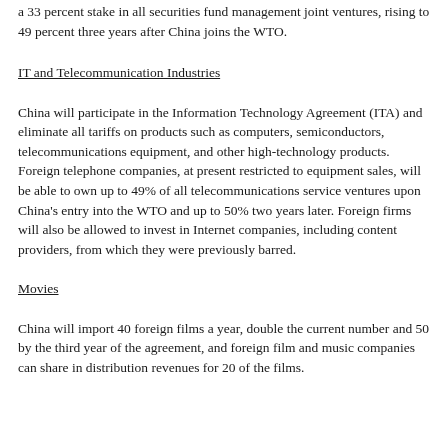a 33 percent stake in all securities fund management joint ventures, rising to 49 percent three years after China joins the WTO.
IT and Telecommunication Industries
China will participate in the Information Technology Agreement (ITA) and eliminate all tariffs on products such as computers, semiconductors, telecommunications equipment, and other high-technology products. Foreign telephone companies, at present restricted to equipment sales, will be able to own up to 49% of all telecommunications service ventures upon China's entry into the WTO and up to 50% two years later. Foreign firms will also be allowed to invest in Internet companies, including content providers, from which they were previously barred.
Movies
China will import 40 foreign films a year, double the current number and 50 by the third year of the agreement, and foreign film and music companies can share in distribution revenues for 20 of the films.